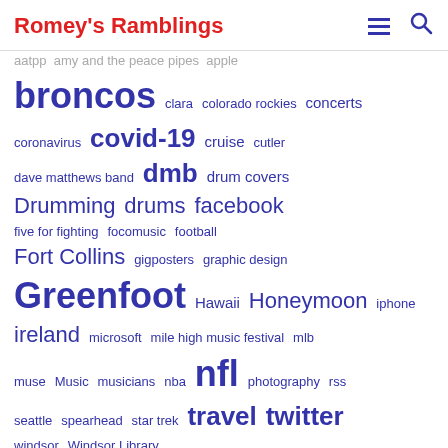Romey's Ramblings
aatpp amy and the peace pipes apple
[Figure (infographic): Tag cloud with words of varying sizes in blue, representing blog categories/tags: broncos, clara, colorado rockies, concerts, coronavirus, covid-19, cruise, cutler, dave matthews band, dmb, drum covers, Drumming, drums, facebook, five for fighting, focomusic, football, Fort Collins, gigposters, graphic design, Greenfoot, Hawaii, Honeymoon, iphone, ireland, microsoft, mile high music festival, mlb, muse, Music, musicians, nba, nfl, photography, rss, seattle, spearhead, star trek, travel, twitter, windsor, Windsor Library]